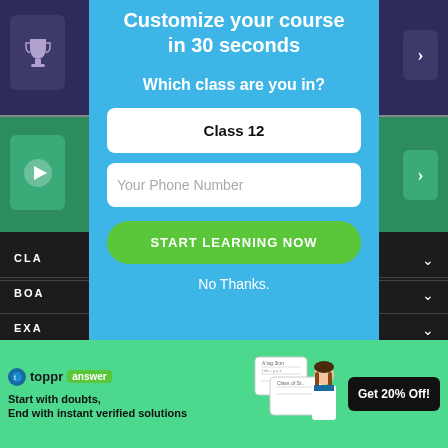[Figure (screenshot): Educational app background with purple trophy banner and green video banner, with dark menu rows below]
Customize your course in 30 seconds
Which class are you in?
Class 12
Your Phone Number
START LEARNING NOW
No Thanks.
[Figure (infographic): Toppr answer ad banner with green background, logo, tagline 'Start with doubts, End with instant verified solutions', student image, and 'Get 20% Off!' CTA button]